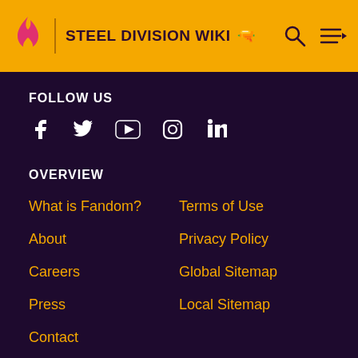STEEL DIVISION WIKI
FOLLOW US
[Figure (infographic): Social media icons: Facebook, Twitter, YouTube, Instagram, LinkedIn]
OVERVIEW
What is Fandom?
Terms of Use
About
Privacy Policy
Careers
Global Sitemap
Press
Local Sitemap
Contact
COMMUNITY